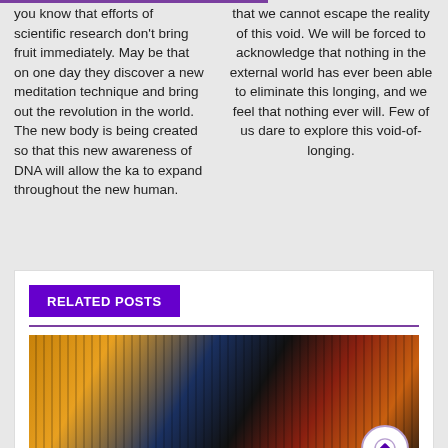you know that efforts of scientific research don't bring fruit immediately. May be that on one day they discover a new meditation technique and bring out the revolution in the world. The new body is being created so that this new awareness of DNA will allow the ka to expand throughout the new human.
that we cannot escape the reality of this void. We will be forced to acknowledge that nothing in the external world has ever been able to eliminate this longing, and we feel that nothing ever will. Few of us dare to explore this void-of-longing.
RELATED POSTS
[Figure (photo): Two human heads/faces overlaid with tree branch shadows and colorful light patterns, artistic composite photo]